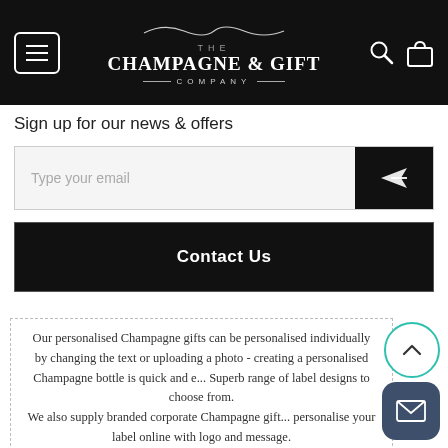[Figure (logo): The Champagne & Gift Company logo with decorative curls, white text on black header bar with hamburger menu button, search icon, and bag icon]
Sign up for our news & offers
Type your email
Contact Us
Our personalised Champagne gifts can be personalised individually by changing the text or uploading a photo - creating a personalised Champagne bottle is quick and e... Superb range of label designs to choose from. We also supply branded corporate Champagne gift... personalise your label online with logo and message. Champagne and wine gifts delivered to UK and international...